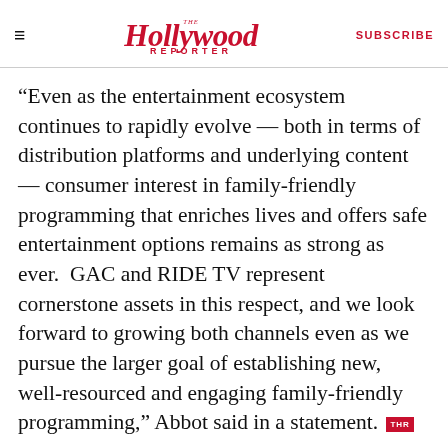The Hollywood Reporter  SUBSCRIBE
“Even as the entertainment ecosystem continues to rapidly evolve — both in terms of distribution platforms and underlying content — consumer interest in family-friendly programming that enriches lives and offers safe entertainment options remains as strong as ever.  GAC and RIDE TV represent cornerstone assets in this respect, and we look forward to growing both channels even as we pursue the larger goal of establishing new, well-resourced and engaging family-friendly programming,” Abbot said in a statement.
READ MORE ABOUT:
AT&T  /  DISCOVERY INC.  /  WARNERMEDIA